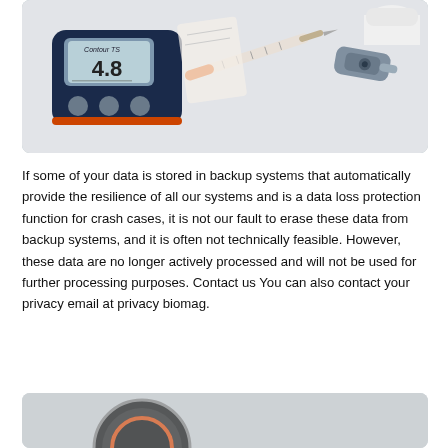[Figure (photo): A Contour TS blood glucose meter showing reading 4.8, alongside an insulin syringe and a lancet device on a white background.]
If some of your data is stored in backup systems that automatically provide the resilience of all our systems and is a data loss protection function for crash cases, it is not our fault to erase these data from backup systems, and it is often not technically feasible. However, these data are no longer actively processed and will not be used for further processing purposes. Contact us You can also contact your privacy email at privacy biomag.
[Figure (photo): Partial view of a medical device, appears to be a wearable or monitoring device, circular shape visible at bottom of page.]